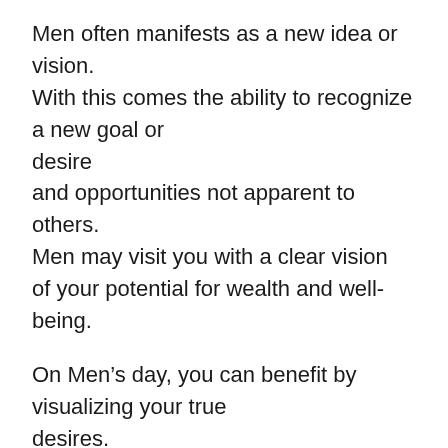Men often manifests as a new idea or vision. With this comes the ability to recognize a new goal or desire and opportunities not apparent to others. Men may visit you with a clear vision of your potential for wealth and well-being.
On Men’s day, you can benefit by visualizing your true desires. Be open to new ideas and unexpected insights. Take the steps to advance your wealth and well-being.
Those born with Men as their Daykeeper are natural producers and visionaries. They can envision and bring together the resources needed for the manifestation of something larger than themselves,